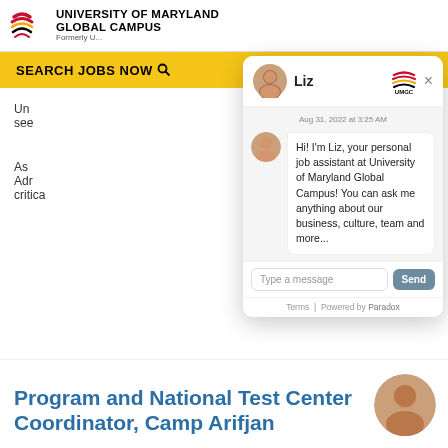UNIVERSITY OF MARYLAND GLOBAL CAMPUS · Formerly U...
SEARCH JOBS NOW   TALENT NETWORK
[Figure (screenshot): Chat popup widget with avatar of Liz, UMGC logo, close button. Message: 'Hi! I'm Liz, your personal job assistant at University of Maryland Global Campus! You can ask me anything about our business, culture, team and more...' with text input field and Send button. Footer: Terms | Powered by Paradox.]
Program and National Test Center Coordinator, Camp Arifjan